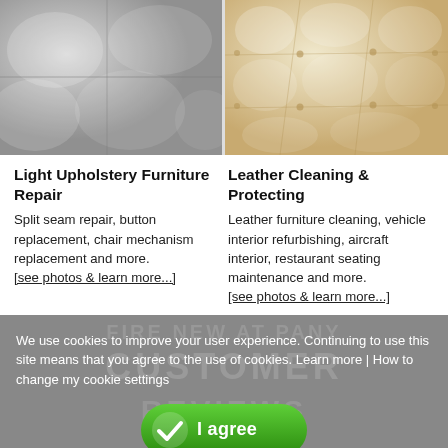[Figure (photo): Two side-by-side photos: left shows gray quilted/tufted upholstery close-up; right shows cream/beige tufted leather upholstery close-up.]
Light Upholstery Furniture Repair
Split seam repair, button replacement, chair mechanism replacement and more. [see photos & learn more...]
Leather Cleaning & Protecting
Leather furniture cleaning, vehicle interior refurbishing, aircraft interior, restaurant seating maintenance and more. [see photos & learn more...]
We use cookies to improve your user experience. Continuing to use this site means that you agree to the use of cookies. Learn more | How to change my cookie settings
I agree